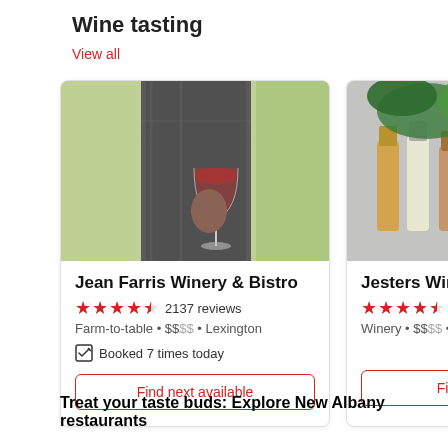Wine tasting
View all
[Figure (photo): Person holding a red wine glass outdoors on a green background]
Jean Farris Winery & Bistro
★★★★½  2137 reviews
Farm-to-table • $$$$ • Lexington
Booked 7 times today
Find next available
[Figure (photo): Overhead view of wine bottles, fresh vegetables and herbs on a table]
Jesters Winery & Ca
★★★★½  148 revi
Winery • $$$$ • Lebanon
Find next available
Treat your taste buds: Explore New Albany restaurants